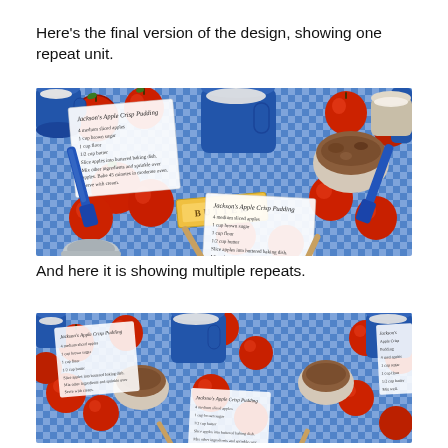Here's the final version of the design, showing one repeat unit.
[Figure (illustration): Fabric design showing one repeat unit: blue gingham/checkered background with red apples, blue ceramic mugs, a stick of butter, measuring spoons, blue spatulas, a bowl of crumble topping, and handwritten recipe cards for 'Jackson's Apple Crisp Pudding'.]
And here it is showing multiple repeats.
[Figure (illustration): The same fabric design tiled to show multiple repeats of the pattern with apples, mugs, recipe cards, butter, and kitchen items on blue gingham background.]